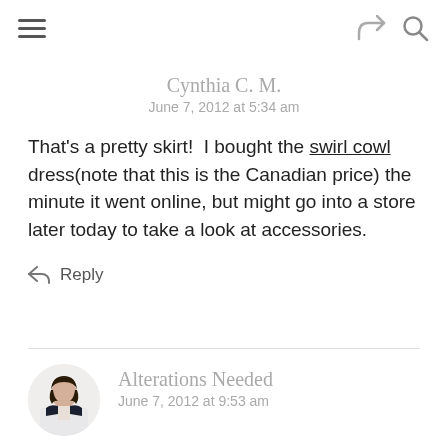Navigation and icons bar
Cynthia C. M.
June 7, 2012 at 5:34 am
That's a pretty skirt!  I bought the swirl cowl dress(note that this is the Canadian price) the minute it went online, but might go into a store later today to take a look at accessories.
Reply
Alterations Needed
June 7, 2012 at 9:53 am